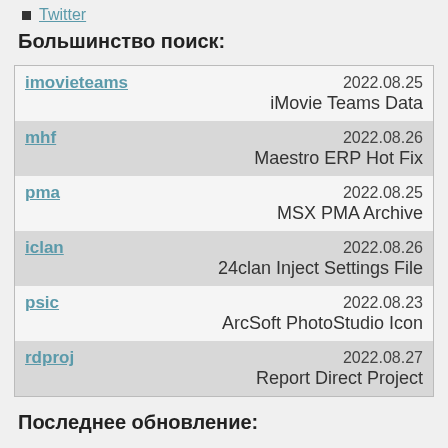Twitter
Большинство поиск:
| name | date | description |
| --- | --- | --- |
| imovieteams | 2022.08.25 | iMovie Teams Data |
| mhf | 2022.08.26 | Maestro ERP Hot Fix |
| pma | 2022.08.25 | MSX PMA Archive |
| iclan | 2022.08.26 | 24clan Inject Settings File |
| psic | 2022.08.23 | ArcSoft PhotoStudio Icon |
| rdproj | 2022.08.27 | Report Direct Project |
Последнее обновление: